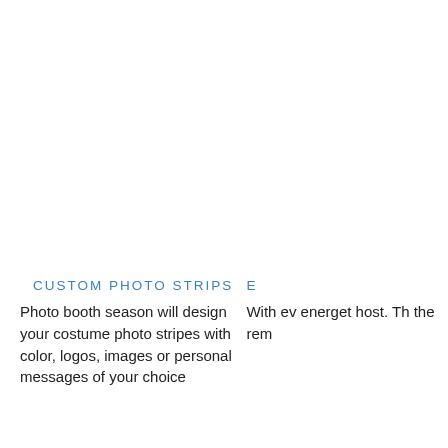CUSTOM PHOTO STRIPS
Photo booth season will design your costume photo stripes with color, logos, images or personal messages of your choice
E
With ev energet host. Th the rem